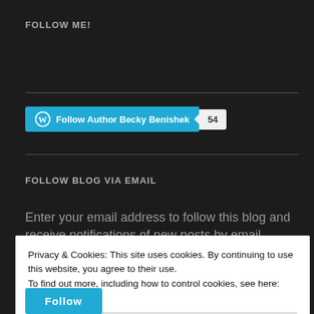FOLLOW ME!
[Figure (other): WordPress Follow Author Becky Benishek button with count badge showing 54]
FOLLOW BLOG VIA EMAIL
Enter your email address to follow this blog and receive notifications of new posts by email.
Privacy & Cookies: This site uses cookies. By continuing to use this website, you agree to their use.
To find out more, including how to control cookies, see here: Cookie Policy
Close and accept
Follow